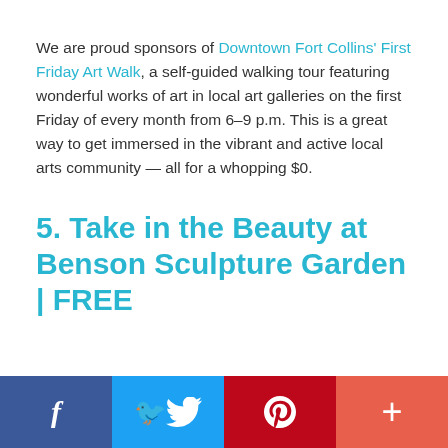We are proud sponsors of Downtown Fort Collins' First Friday Art Walk, a self-guided walking tour featuring wonderful works of art in local art galleries on the first Friday of every month from 6–9 p.m. This is a great way to get immersed in the vibrant and active local arts community — all for a whopping $0.
5. Take in the Beauty at Benson Sculpture Garden | FREE
[Figure (other): Social sharing bar with four buttons: Facebook (dark blue), Twitter (light blue), Pinterest (red), and a plus/share button (coral/orange-red)]